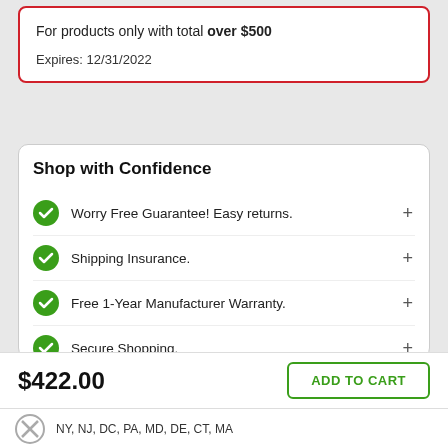For products only with total over $500

Expires: 12/31/2022
Shop with Confidence
Worry Free Guarantee! Easy returns.
Shipping Insurance.
Free 1-Year Manufacturer Warranty.
Secure Shopping.
Privacy Protection.
Top Rated Customer Service.
$422.00
ADD TO CART
NY, NJ, DC, PA, MD, DE, CT, MA